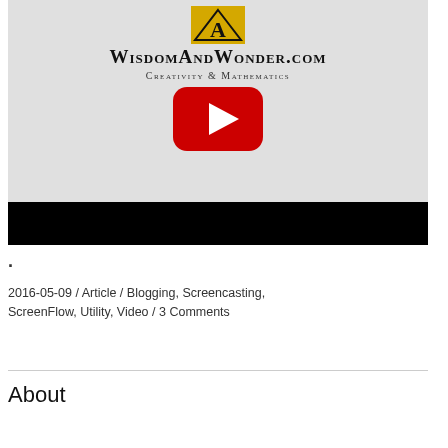[Figure (screenshot): YouTube video thumbnail showing WisdomAndWonder.com logo with gold triangle/A symbol, site title in small-caps serif font, subtitle 'Creativity & Mathematics', and a YouTube play button overlay. Below is a black video control bar.]
.
2016-05-09 / Article / Blogging, Screencasting, ScreenFlow, Utility, Video / 3 Comments
About